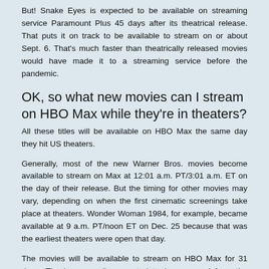But! Snake Eyes is expected to be available on streaming service Paramount Plus 45 days after its theatrical release. That puts it on track to be available to stream on or about Sept. 6. That's much faster than theatrically released movies would have made it to a streaming service before the pandemic.
OK, so what new movies can I stream on HBO Max while they're in theaters?
All these titles will be available on HBO Max the same day they hit US theaters.
Generally, most of the new Warner Bros. movies become available to stream on Max at 12:01 a.m. PT/3:01 a.m. ET on the day of their release. But the timing for other movies may vary, depending on when the first cinematic screenings take place at theaters. Wonder Woman 1984, for example, became available at 9 a.m. PT/noon ET on Dec. 25 because that was the earliest theaters were open that day.
The movies will be available to stream on HBO Max for 31 days. They're generally expected to be removed from the service at 11:59 p.m. PT on that 31st day.